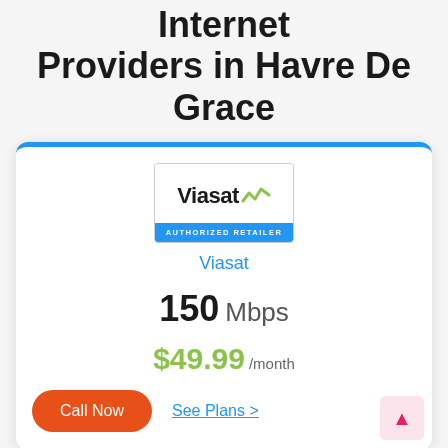Internet Providers in Havre De Grace
[Figure (logo): Viasat Authorized Retailer logo — white background with Viasat wordmark and wave icon, blue bar at bottom reading AUTHORIZED RETAILER]
Viasat
150 Mbps
$49.99 /month
Call Now
See Plans >